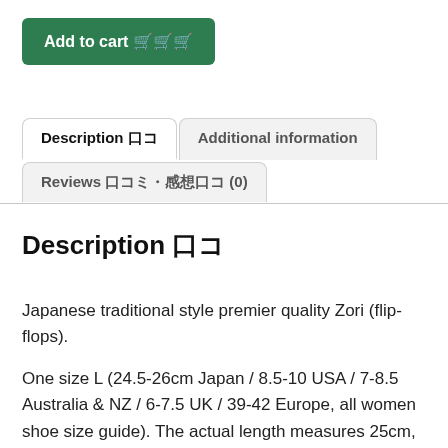Add to cart 🛒
Description 🇯🇵 | Additional information | Reviews 口コミ・感想 (0)
Description 🇯🇵
Japanese traditional style premier quality Zori (flip-flops).
One size L (24.5-26cm Japan / 8.5-10 USA / 7-8.5 Australia & NZ / 6-7.5 UK / 39-42 Europe, all women shoe size guide). The actual length measures 25cm, 10cm width. Originally male design but recommended